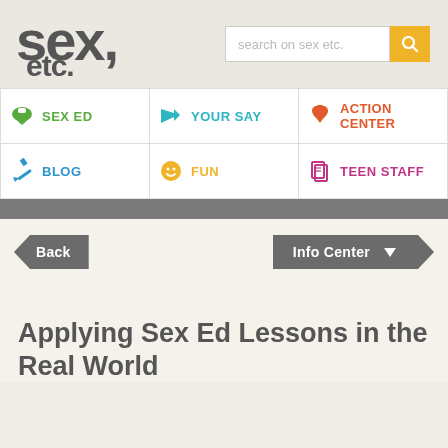[Figure (logo): sex, etc. website logo in dark gray bold rounded font]
[Figure (screenshot): Search bar with placeholder text 'search on sex etc.' and an orange search button with magnifying glass icon]
[Figure (infographic): Navigation grid with 6 cells: SEX ED (green graduation cap), YOUR SAY (teal megaphone), ACTION CENTER (orange fist), BLOG (blue pencil), FUN (yellow smiley), TEEN STAFF (pink papers)]
[Figure (screenshot): Back button (dark gray left-arrow shape) and Info Center button (dark gray right-arrow shape with dropdown triangle)]
Applying Sex Ed Lessons in the Real World